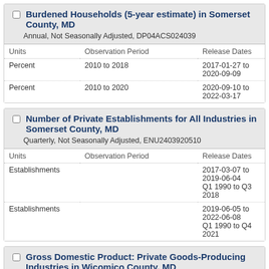Burdened Households (5-year estimate) in Somerset County, MD
Annual, Not Seasonally Adjusted, DP04ACS024039
| Units | Observation Period | Release Dates |
| --- | --- | --- |
| Percent | 2010 to 2018 | 2017-01-27 to 2020-09-09 |
| Percent | 2010 to 2020 | 2020-09-10 to 2022-03-17 |
Number of Private Establishments for All Industries in Somerset County, MD
Quarterly, Not Seasonally Adjusted, ENU2403920510
| Units | Observation Period | Release Dates |
| --- | --- | --- |
| Establishments |  | 2017-03-07 to 2019-06-04
Q1 1990 to Q3 2018 |
| Establishments |  | 2019-06-05 to 2022-06-08
Q1 1990 to Q4 2021 |
Gross Domestic Product: Private Goods-Producing Industries in Wicomico County, MD